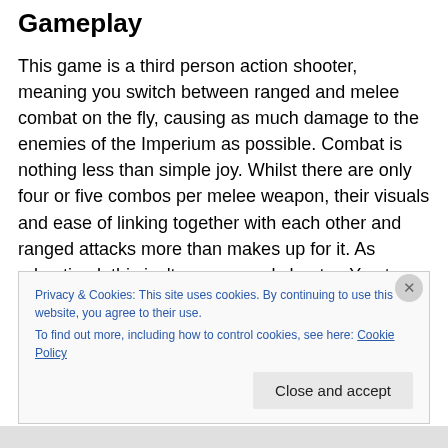Gameplay
This game is a third person action shooter, meaning you switch between ranged and melee combat on the fly, causing as much damage to the enemies of the Imperium as possible. Combat is nothing less than simple joy. Whilst there are only four or five combos per melee weapon, their visuals and ease of linking together with each other and ranged attacks more than makes up for it. As advertised, this isn't your normal shooter. You tap square you hit someone with a melee attack, tap R1 and you shoot. You
Privacy & Cookies: This site uses cookies. By continuing to use this website, you agree to their use.
To find out more, including how to control cookies, see here: Cookie Policy
Close and accept